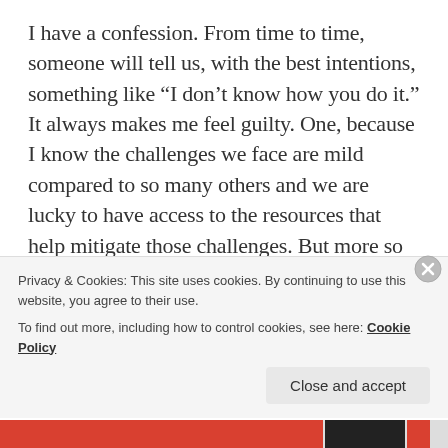I have a confession. From time to time, someone will tell us, with the best intentions, something like “I don’t know how you do it.” It always makes me feel guilty. One, because I know the challenges we face are mild compared to so many others and we are lucky to have access to the resources that help mitigate those challenges. But more so because I don’t think there’s anything exceptional about the way we parent either of our children. Sometimes we do a great job. Sometimes we make mistakes. Sometimes we go to great lengths to make our son or daughter happy. Is that a burden? No. It’s parenting.
Privacy & Cookies: This site uses cookies. By continuing to use this website, you agree to their use.
To find out more, including how to control cookies, see here: Cookie Policy
Close and accept